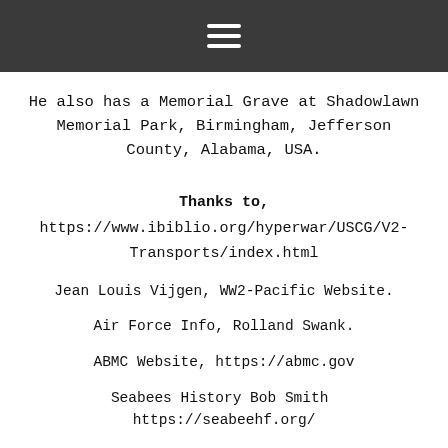≡ (menu icon)
He also has a Memorial Grave at Shadowlawn Memorial Park, Birmingham, Jefferson County, Alabama, USA.
Thanks to,
https://www.ibiblio.org/hyperwar/USCG/V2-Transports/index.html
Jean Louis Vijgen, WW2-Pacific Website.
Air Force Info, Rolland Swank.
ABMC Website, https://abmc.gov
Seabees History Bob Smith  https://seabeehf.org/